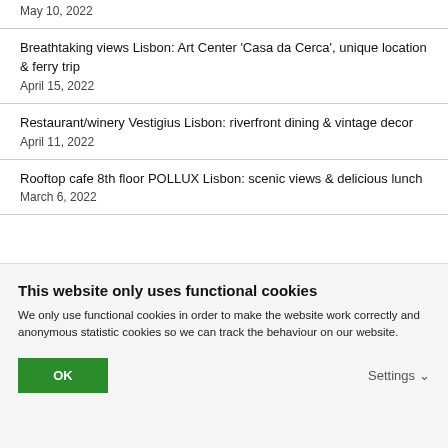May 10, 2022
Breathtaking views Lisbon: Art Center ‘Casa da Cerca’, unique location & ferry trip
April 15, 2022
Restaurant/winery Vestigius Lisbon: riverfront dining & vintage decor
April 11, 2022
Rooftop cafe 8th floor POLLUX Lisbon: scenic views & delicious lunch
March 6, 2022
This website only uses functional cookies
We only use functional cookies in order to make the website work correctly and anonymous statistic cookies so we can track the behaviour on our website.